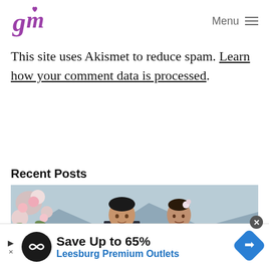Menu
This site uses Akismet to reduce spam. Learn how your comment data is processed.
Recent Posts
[Figure (photo): Wedding couple photo — man in suit and woman with floral hair accessories, pink flowers on left, mountain background]
[Figure (other): Advertisement banner: Save Up to 65% Leesburg Premium Outlets]